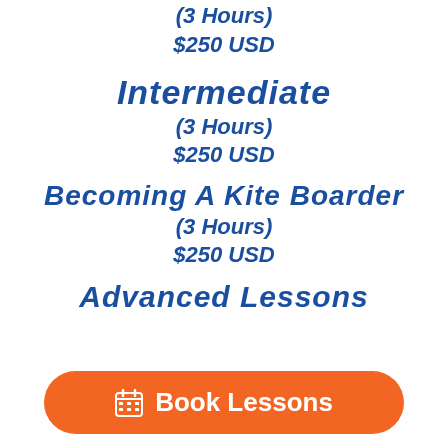(3 Hours)
$250 USD
Intermediate
(3 Hours)
$250 USD
Becoming a Kite boarder
(3 Hours)
$250 USD
Advanced Lessons
Book Lessons